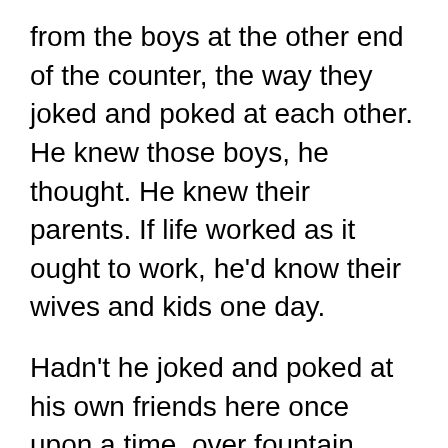from the boys at the other end of the counter, the way they joked and poked at each other. He knew those boys, he thought. He knew their parents. If life worked as it ought to work, he'd know their wives and kids one day.
Hadn't he joked and poked at his own friends here once upon a time, over fountain Cokes and fries? Hadn't his own children run tame through this place? Now his girls were married and gone, with families of their own. And his boy was a man, sitting with worry in his eyes over problems too big to be understood.
"You have to prepare for it to happen again,"